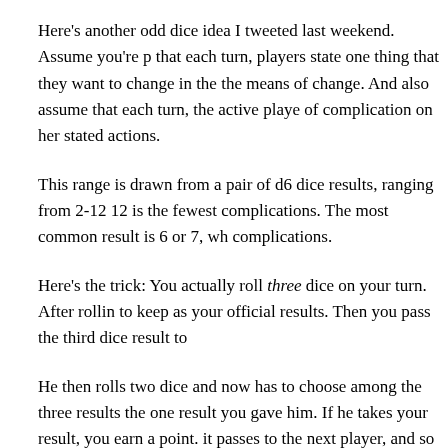Here's another odd dice idea I tweeted last weekend. Assume you're playing a game that each turn, players state one thing that they want to change in the world and the means of change. And also assume that each turn, the active player rolls a range of complication on her stated actions.
This range is drawn from a pair of d6 dice results, ranging from 2-12, where 12 is the fewest complications. The most common result is 6 or 7, which gives complications.
Here's the trick: You actually roll three dice on your turn. After rolling, you pick two to keep as your official results. Then you pass the third dice result to
He then rolls two dice and now has to choose among the three results, including the one result you gave him. If he takes your result, you earn a point. If he doesn't, it passes to the next player, and so on until someone takes it or it comes back to you. If it comes back to you, you lose one point.
There are some interesting choices here: You can offer a high result t